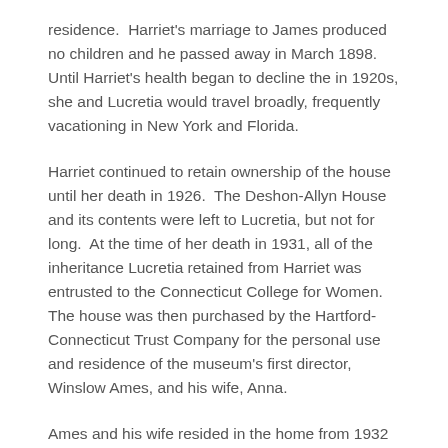residence.  Harriet's marriage to James produced no children and he passed away in March 1898.   Until Harriet's health began to decline the in 1920s, she and Lucretia would travel broadly, frequently vacationing in New York and Florida.
Harriet continued to retain ownership of the house until her death in 1926.  The Deshon-Allyn House and its contents were left to Lucretia, but not for long.  At the time of her death in 1931, all of the inheritance Lucretia retained from Harriet was entrusted to the Connecticut College for Women.  The house was then purchased by the Hartford-Connecticut Trust Company for the personal use and residence of the museum's first director, Winslow Ames, and his wife, Anna.
Ames and his wife resided in the home from 1932 until